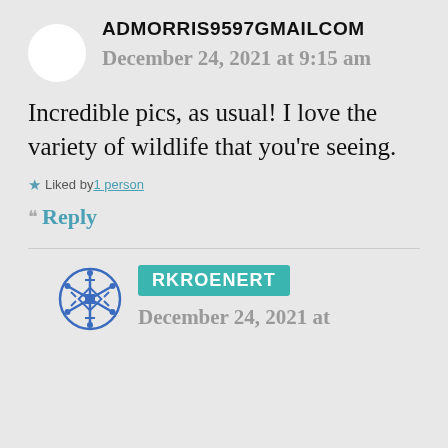ADMORRIS9597GMAILCOM
December 24, 2021 at 9:15 am
Incredible pics, as usual! I love the variety of wildlife that you're seeing.
Liked by 1 person
Reply
RKROENERT
December 24, 2021 at